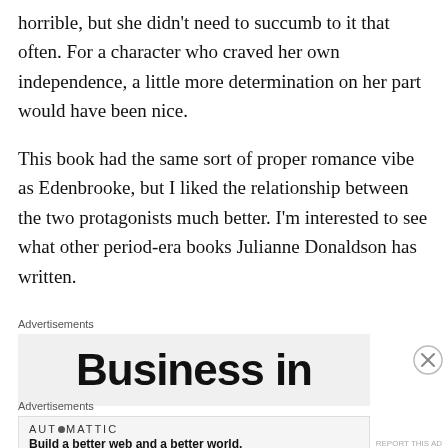horrible, but she didn't need to succumb to it that often. For a character who craved her own independence, a little more determination on her part would have been nice.
This book had the same sort of proper romance vibe as Edenbrooke, but I liked the relationship between the two protagonists much better. I'm interested to see what other period-era books Julianne Donaldson has written.
Advertisements
[Figure (other): Advertisement banner with large bold text 'Business in' on grey background]
Advertisements
[Figure (other): Automattic advertisement: logo 'AUTOMATTIC' with tagline 'Build a better web and a better world.']